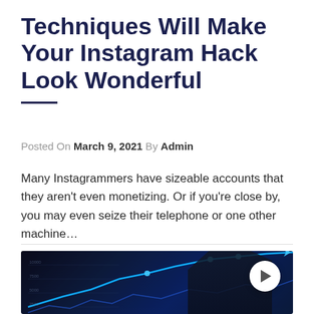Techniques Will Make Your Instagram Hack Look Wonderful
Posted On March 9, 2021 By Admin
Many Instagrammers have sizeable accounts that they aren't even monetizing. Or if you're close by, you may even seize their telephone or one other machine…
[Figure (photo): A person in a suit pointing at a glowing blue line chart rising upward, set against a dark blue background with digital analytics graphics.]